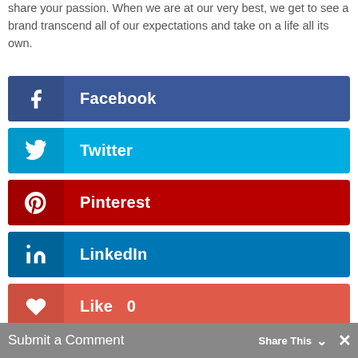share your passion. When we are at our very best, we get to see a brand transcend all of our expectations and take on a life all its own.
[Figure (infographic): Social media share buttons: Facebook (dark blue), Twitter (light blue), Pinterest (dark red), LinkedIn (blue), Like 0 (coral red)]
Submit a Comment  Share This  ✓  ✕